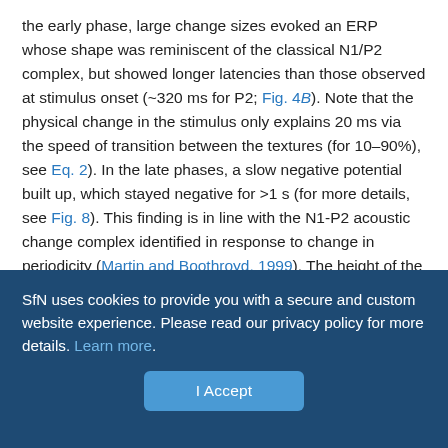the early phase, large change sizes evoked an ERP whose shape was reminiscent of the classical N1/P2 complex, but showed longer latencies than those observed at stimulus onset (~320 ms for P2; Fig. 4B). Note that the physical change in the stimulus only explains 20 ms via the speed of transition between the textures (for 10–90%), see Eq. 2). In the late phases, a slow negative potential built up, which stayed negative for >1 s (for more details, see Fig. 8). This finding is in line with the N1-P2 acoustic change complex identified in response to change in periodicity (Martin and Boothroyd, 1999). The height of the early component, measured as the potential w.r.t. baseline at the average peak time (Fig. 4E,F; p = 0.084 and p = 0.980, respectively) did not reach statistical significance even for large changes in spectral properties (mixing coefficient = 0.6). Its
SfN uses cookies to provide you with a secure and custom website experience. Please read our privacy policy for more details. Learn more.